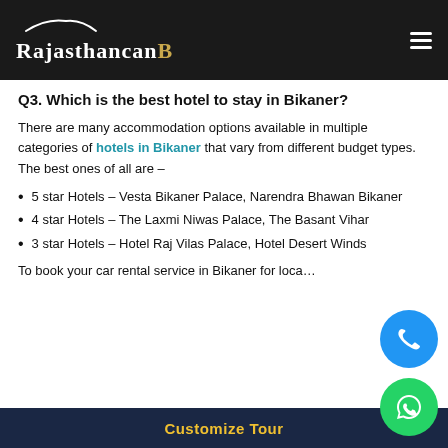RajasthanCab
Q3. Which is the best hotel to stay in Bikaner?
There are many accommodation options available in multiple categories of hotels in Bikaner that vary from different budget types. The best ones of all are –
5 star Hotels – Vesta Bikaner Palace, Narendra Bhawan Bikaner
4 star Hotels – The Laxmi Niwas Palace, The Basant Vihar
3 star Hotels – Hotel Raj Vilas Palace, Hotel Desert Winds
To book your car rental service in Bikaner for loca…
Customize Tour